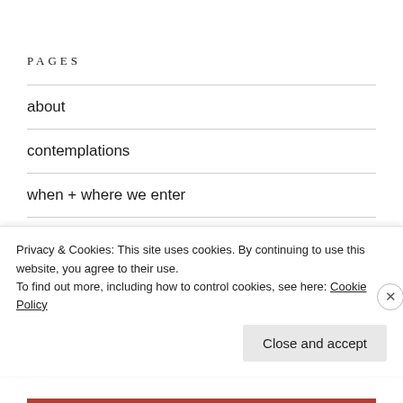PAGES
about
contemplations
when + where we enter
Search
Privacy & Cookies: This site uses cookies. By continuing to use this website, you agree to their use.
To find out more, including how to control cookies, see here: Cookie Policy
Close and accept